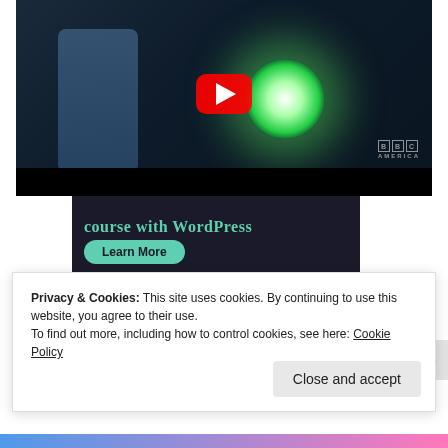[Figure (screenshot): YouTube video thumbnail showing a dark forest scene with a glowing green light and a person, BBC America watermark, YouTube play button overlay]
[Figure (screenshot): Advertisement banner with dark background showing 'course with WordPress' text in teal and a 'Learn More' teal button]
Privacy & Cookies: This site uses cookies. By continuing to use this website, you agree to their use.
To find out more, including how to control cookies, see here: Cookie Policy